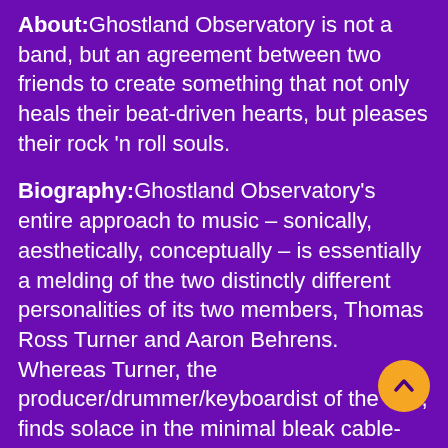About: Ghostland Observatory is not a band, but an agreement between two friends to create something that not only heals their beat-driven hearts, but pleases their rock 'n roll souls.
Biography: Ghostland Observatory's entire approach to music – sonically, aesthetically, conceptually – is essentially a melding of the two distinctly different personalities of its two members, Thomas Ross Turner and Aaron Behrens. Whereas Turner, the producer/drummer/keyboardist of the duo, finds solace in the minimal bleak cable-patch squawks of Karlheinz Stockhausen and the analog-disco-thump of Giorgio
[Figure (other): Orange circular scroll-to-top button with upward chevron arrow]